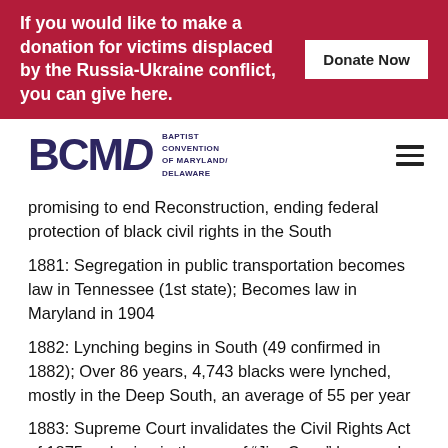If you would like to make a donation for victims displaced by the Russia-Ukraine conflict, you can give here. Donate Now
[Figure (logo): BCMD Baptist Convention of Maryland/Delaware logo with hamburger menu icon]
promising to end Reconstruction, ending federal protection of black civil rights in the South
1881: Segregation in public transportation becomes law in Tennessee (1st state); Becomes law in Maryland in 1904
1882: Lynching begins in South (49 confirmed in 1882); Over 86 years, 4,743 blacks were lynched, mostly in the Deep South, an average of 55 per year
1883: Supreme Court invalidates the Civil Rights Act of 1875, ushering in the era of “Jim Crow” laws and local